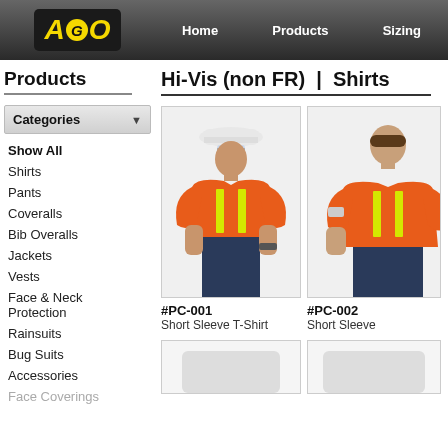AGO | Home | Products | Sizing
Products
Hi-Vis (non FR) | Shirts
Categories
Show All
Shirts
Pants
Coveralls
Bib Overalls
Jackets
Vests
Face & Neck Protection
Rainsuits
Bug Suits
Accessories
Face Coverings
[Figure (photo): Man wearing orange hi-vis short sleeve t-shirt with yellow reflective stripes, white hard hat and safety glasses]
#PC-001
Short Sleeve T-Shirt
[Figure (photo): Man wearing orange hi-vis short sleeve t-shirt with yellow reflective stripes, partial view cut off on right side]
#PC-002
Short Sleeve